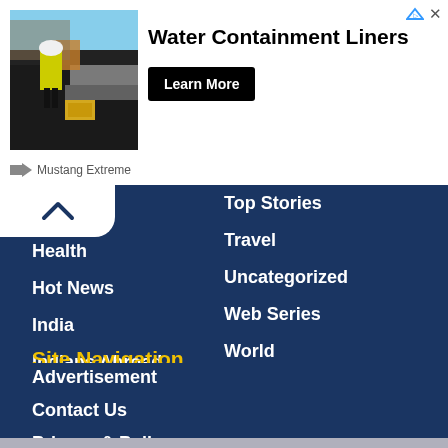[Figure (photo): Advertisement banner showing a worker in yellow vest on a dark surface (roofing/lining work), with text 'Water Containment Liners' and a 'Learn More' button. Attribution: Mustang Extreme.]
Top Stories
Health
Travel
Hot News
Uncategorized
India
Web Series
Indians Abroad
World
Lifestyle
Site Navigation
Home
Advertisement
Contact Us
Privacy & Policy